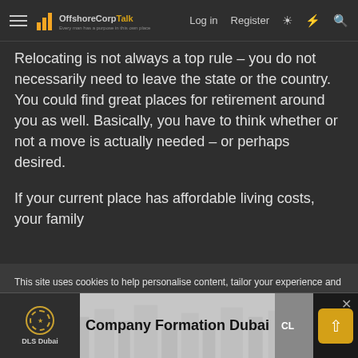OffshoreCorpTalk — Log in | Register
Relocating is not always a top rule – you do not necessarily need to leave the state or the country. You could find great places for retirement around you as well. Basically, you have to think whether or not a move is actually needed – or perhaps desired.
If your current place has affordable living costs, your family
This site uses cookies to help personalise content, tailor your experience and to keep you logged in if you register.
By continuing to use this site, you are consenting to our use of cookies.
Accept | Learn more...
[Figure (other): Advertisement banner: DLS Dubai logo on left, 'Company Formation Dubai' text in center on grey background, scroll-to-top button on right]